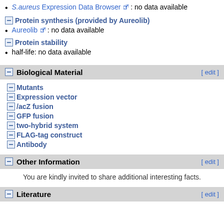S.aureus Expression Data Browser: no data available
Protein synthesis (provided by Aureolib)
Aureolib: no data available
Protein stability
half-life: no data available
Biological Material
Mutants
Expression vector
/acZ fusion
GFP fusion
two-hybrid system
FLAG-tag construct
Antibody
Other Information
You are kindly invited to share additional interesting facts.
Literature